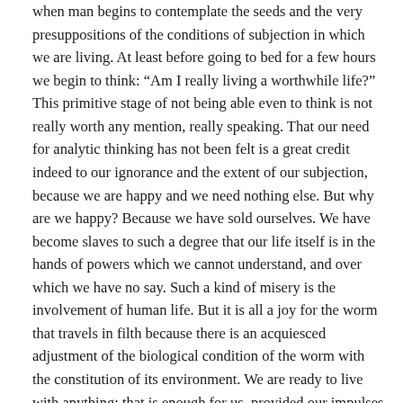when man begins to contemplate the seeds and the very presuppositions of the conditions of subjection in which we are living. At least before going to bed for a few hours we begin to think: “Am I really living a worthwhile life?” This primitive stage of not being able even to think is not really worth any mention, really speaking. That our need for analytic thinking has not been felt is a great credit indeed to our ignorance and the extent of our subjection, because we are happy and we need nothing else. But why are we happy? Because we have sold ourselves. We have become slaves to such a degree that our life itself is in the hands of powers which we cannot understand, and over which we have no say. Such a kind of misery is the involvement of human life. But it is all a joy for the worm that travels in filth because there is an acquiesced adjustment of the biological condition of the worm with the constitution of its environment. We are ready to live with anything; that is enough for us, provided our impulses are gratified.
Thus, there seems to be a final quintessential conclusion of